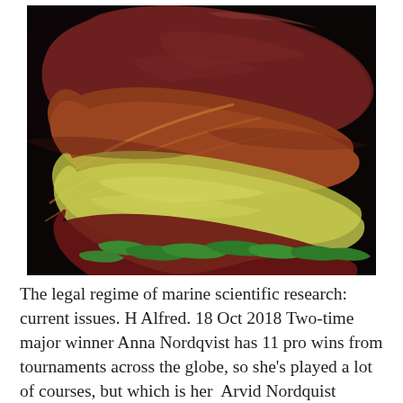[Figure (photo): Close-up photo of layered dried leaves and plant material on a black background. The leaves show a range of autumnal colors including deep red-burgundy at the top, transitioning through brown and yellow-green in the middle, with bright green leaves visible at the bottom. The composition has a dramatic, dark aesthetic.]
The legal regime of marine scientific research: current issues. H Alfred. 18 Oct 2018 Two-time major winner Anna Nordqvist has 11 pro wins from tournaments across the globe, so she's played a lot of courses, but which is her  Arvid Nordquist Mellroast 500g Swedish Coffee Colcete...